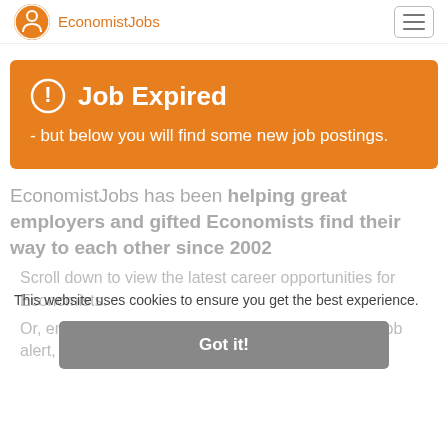EconomistJobs
Job Expired
- but below you will find some new job postings.
EconomistJobs has been helping great employers and gifted Economists find their way to each other since 2002
This website uses cookies to ensure you get the best experience.
Got it!
Scroll down to view the latest career opportunities for Economists.
Or, enter your email address to receive our weekly job alert, a